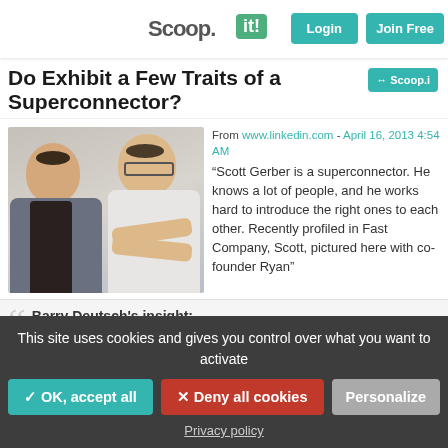Scoop.it! | Login | Join Free
Do Exhibit a Few Traits of a Superconnector?
From www.linkedin.com - April 16, 2013 4:54 AM
[Figure (photo): Two men posing together for a photo — one in a casual jacket and v-neck, one in a white shirt with glasses and arms crossed]
“Scott Gerber is a superconnector. He knows a lot of people, and he works hard to introduce the right ones to each other. Recently profiled in Fast Company, Scott, pictured here with co-founder Ryan”
Barry Deutsch’s insight:
Maybe the ideas on being a superconnector in this article are
This site uses cookies and gives you control over what you want to activate
✓ OK, accept all
× Deny all cookies
Personalize
Privacy policy